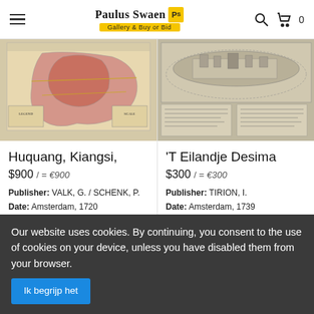Paulus Swaen Gallery & Buy or Bid
[Figure (photo): Antique colored map of Huquang, Kiangsi region, China with decorative cartouche]
Huquang, Kiangsi,
$900 / = €900
Publisher: VALK, G. / SCHENK, P.
Date: Amsterdam, 1720
[Figure (photo): Antique engraving of 'T Eilandje Desima (Dejima island) with text columns below the image]
'T Eilandje Desima
$300 / = €300
Publisher: TIRION, I.
Date: Amsterdam, 1739
Our website uses cookies. By continuing, you consent to the use of cookies on your device, unless you have disabled them from your browser.
Ik begrijp het